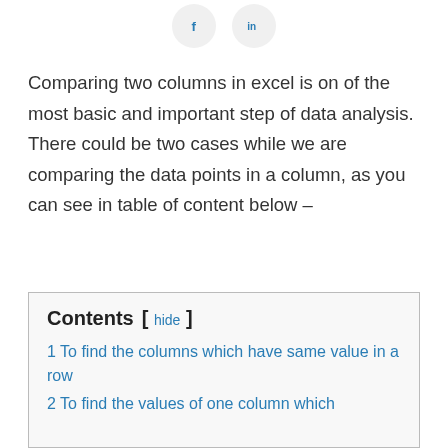[Figure (other): Two social media icon buttons: Facebook (f) and LinkedIn (in), circular light gray background]
Comparing two columns in excel is on of the most basic and important step of data analysis. There could be two cases while we are comparing the data points in a column, as you can see in table of content below –
Contents [ hide ]
1 To find the columns which have same value in a row
2 To find the values of one column which